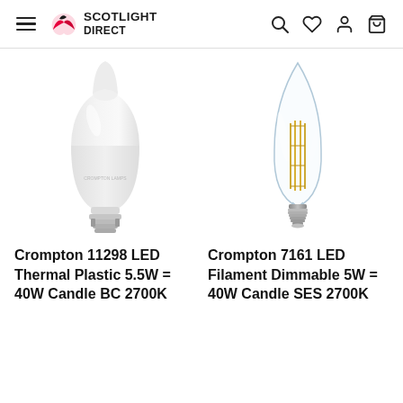Scotlight Direct
[Figure (photo): White frosted candle-shaped LED bulb with bayonet BC cap — Crompton Lamps branding]
[Figure (photo): Clear glass filament dimmable candle-shaped LED bulb with small screw SES cap]
Crompton 11298 LED Thermal Plastic 5.5W = 40W Candle BC 2700K
Crompton 7161 LED Filament Dimmable 5W = 40W Candle SES 2700K